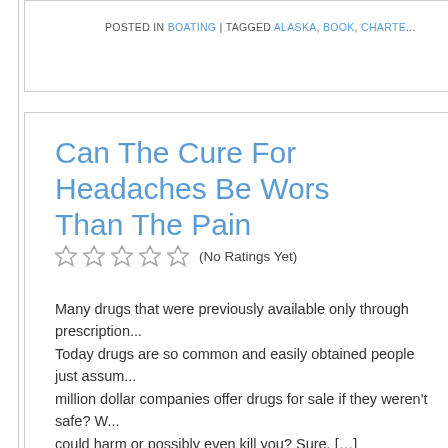POSTED IN BOATING | TAGGED ALASKA, BOOK, CHARTE...
Can The Cure For Headaches Be Worse Than The Pain
(No Ratings Yet)
Many drugs that were previously available only through prescription... Today drugs are so common and easily obtained people just assum... million dollar companies offer drugs for sale if they weren’t safe? W... could harm or possibly even kill you? Sure, […]
POSTED IN ALTERNATIVE MEDICINE | TAGGED DEATHS, DRU...
How To Potty Train In Two Days
(1 votes, average: 4.00 out of 5)
Ah, potty training! Go to a local bookseller and you will find dozens... and there are thousands of websites with information on how to do...